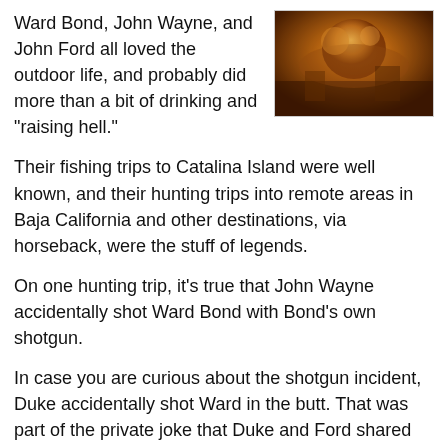Ward Bond, John Wayne, and John Ford all loved the outdoor life, and probably did more than a bit of drinking and "raising hell."
[Figure (photo): A colorful, warmly-lit photo, appearing to show people in an outdoor or rustic setting with warm orange and brown tones.]
Their fishing trips to Catalina Island were well known, and their hunting trips into remote areas in Baja California and other destinations, via horseback, were the stuff of legends.
On one hunting trip, it's true that John Wayne accidentally shot Ward Bond with Bond's own shotgun.
In case you are curious about the shotgun incident, Duke accidentally shot Ward in the butt. That was part of the private joke that Duke and Ford shared about always "shooting" Ward's backside.
On November 5, 1960, midway into Wagon Train's fourth season, Ward Bond and his wife were in Dallas to attend a Cowboys-LA Rams football game. He was to receive some sort of award at the game. That night, at the couple's hotel,